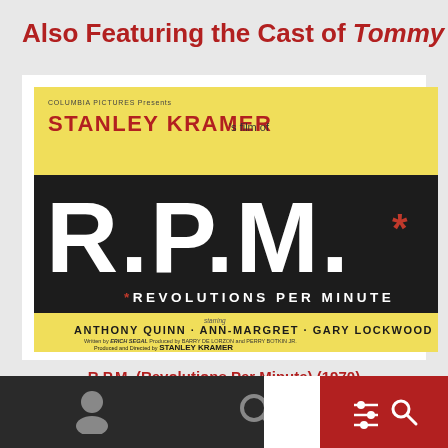Also Featuring the Cast of Tommy
[Figure (photo): Movie poster for R.P.M. (Revolutions Per Minute) 1970. Yellow and black poster showing Columbia Pictures presents Stanley Kramer's film. Large white block letters R.P.M.* on black background, with subtitle *Revolutions Per Minute. Cast: Anthony Quinn, Ann-Margret, Gary Lockwood. Written by Erich Segal. Produced and Directed by Stanley Kramer.]
R.P.M. (Revolutions Per Minute) (1970)